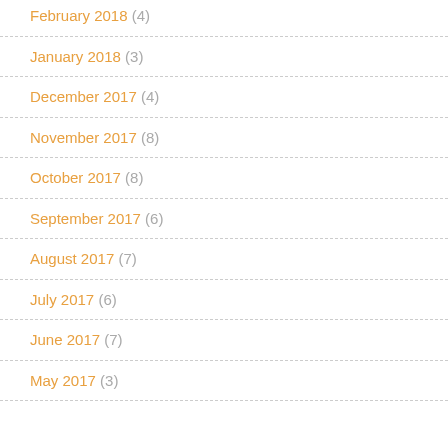February 2018 (4)
January 2018 (3)
December 2017 (4)
November 2017 (8)
October 2017 (8)
September 2017 (6)
August 2017 (7)
July 2017 (6)
June 2017 (7)
May 2017 (3)